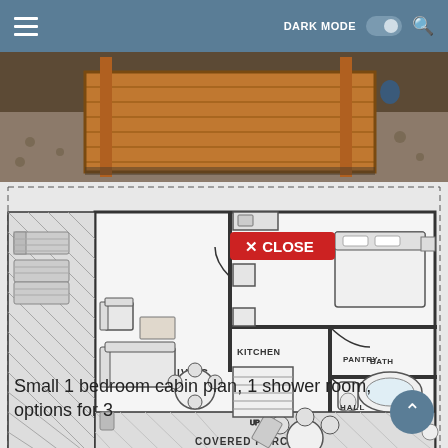DARK MODE [toggle] [search]
[Figure (photo): Exterior view of a wooden cabin deck with gravel and landscaping]
[Figure (engineering-diagram): Floor plan of a small 1-bedroom cabin showing: Covered Porch, Living area, Kitchen, Bedroom, Pantry, Bath, Hall, with furniture layout and a CLOSE button overlay]
Small 1 bedroom cabin plan, 1 shower room, options for 3